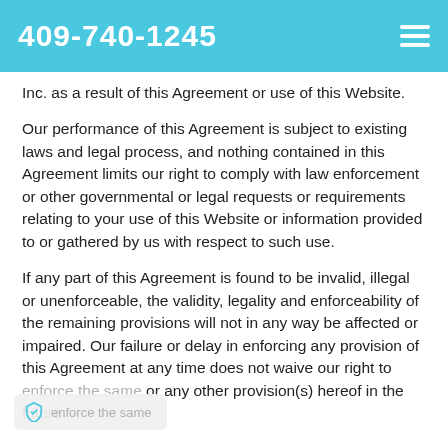409-740-1245
Inc. as a result of this Agreement or use of this Website.
Our performance of this Agreement is subject to existing laws and legal process, and nothing contained in this Agreement limits our right to comply with law enforcement or other governmental or legal requests or requirements relating to your use of this Website or information provided to or gathered by us with respect to such use.
If any part of this Agreement is found to be invalid, illegal or unenforceable, the validity, legality and enforceability of the remaining provisions will not in any way be affected or impaired. Our failure or delay in enforcing any provision of this Agreement at any time does not waive our right to enforce the same or any other provision(s) hereof in the future.